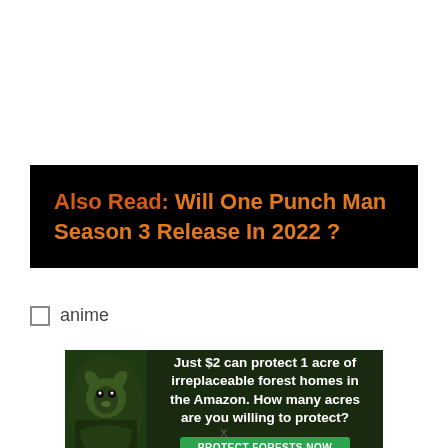Also Read: Will One Punch Man Season 3 Release In 2022 ?
anime
[Figure (infographic): Amazon rainforest conservation advertisement banner. Shows a monkey/sloth in green forest background with text: 'Just $2 can protect 1 acre of irreplaceable forest homes in the Amazon. How many acres are you willing to protect?' and a green button reading 'PROTECT FORESTS NOW'.]
x